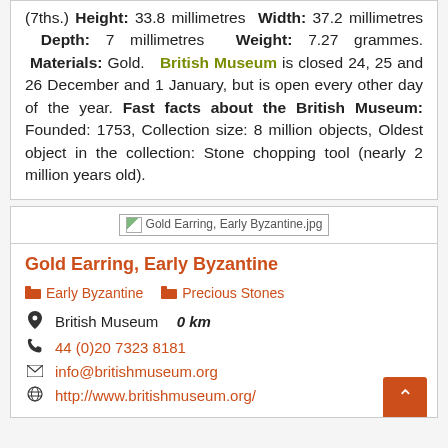(7ths.) Height: 33.8 millimetres Width: 37.2 millimetres Depth: 7 millimetres Weight: 7.27 grammes. Materials: Gold. British Museum is closed 24, 25 and 26 December and 1 January, but is open every other day of the year. Fast facts about the British Museum: Founded: 1753, Collection size: 8 million objects, Oldest object in the collection: Stone chopping tool (nearly 2 million years old).
[Figure (photo): Broken image placeholder for Gold Earring, Early Byzantine.jpg]
Gold Earring, Early Byzantine
Early Byzantine
Precious Stones
British Museum  0 km
44 (0)20 7323 8181
info@britishmuseum.org
http://www.britishmuseum.org/